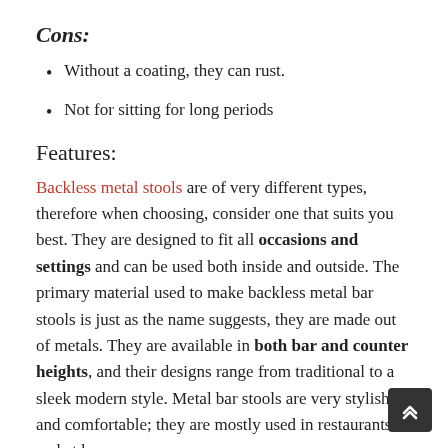Cons:
Without a coating, they can rust.
Not for sitting for long periods
Features:
Backless metal stools are of very different types, therefore when choosing, consider one that suits you best. They are designed to fit all occasions and settings and can be used both inside and outside. The primary material used to make backless metal bar stools is just as the name suggests, they are made out of metals. They are available in both bar and counter heights, and their designs range from traditional to a sleek modern style. Metal bar stools are very stylish and comfortable; they are mostly used in restaurants and at home.